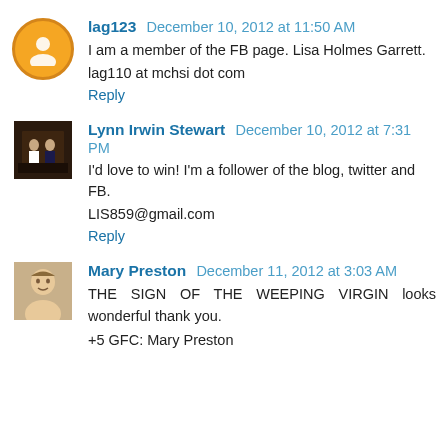lag123  December 10, 2012 at 11:50 AM
I am a member of the FB page. Lisa Holmes Garrett.
lag110 at mchsi dot com
Reply
Lynn Irwin Stewart  December 10, 2012 at 7:31 PM
I'd love to win! I'm a follower of the blog, twitter and FB.
LIS859@gmail.com
Reply
Mary Preston  December 11, 2012 at 3:03 AM
THE SIGN OF THE WEEPING VIRGIN looks wonderful thank you.
+5 GFC: Mary Preston